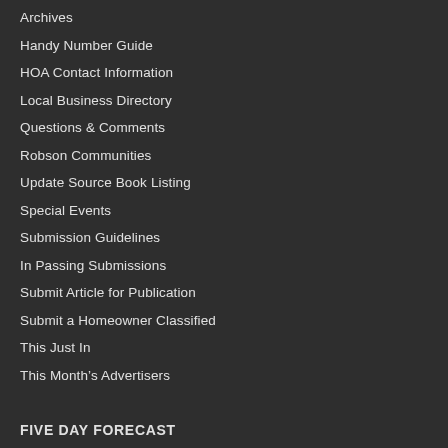Archives
Handy Number Guide
HOA Contact Information
Local Business Directory
Questions & Comments
Robson Communities
Update Source Book Listing
Special Events
Submission Guidelines
In Passing Submissions
Submit Article for Publication
Submit a Homeowner Classified
This Just In
This Month’s Advertisers
FIVE DAY FORECAST